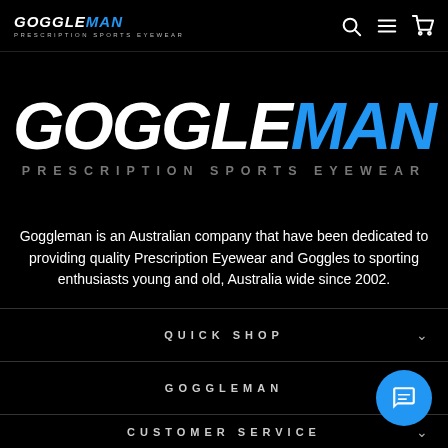GOGGLEMAN PRESCRIPTION SPORTS EYEWEAR
[Figure (logo): GOGGLEMAN large logo with GOGGLE in white italic bold and MAN in blue italic bold, subtitle PRESCRIPTION SPORTS EYEWEAR in gray spaced uppercase letters]
Goggleman is an Australian company that have been dedicated to providing quality Prescription Eyewear and Goggles to sporting enthusiasts young and old, Australia wide since 2002.
QUICK SHOP
GOGGLEMAN
CUSTOMER SERVICE
CONTACT US